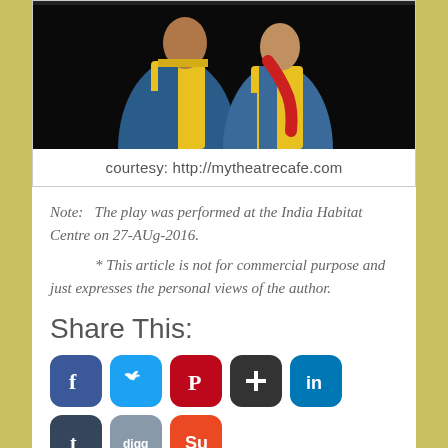[Figure (photo): Two people wearing yellow vests against a dark background, cropped at top of frame]
courtesy: http://mytheatrecafe.com
Note:   The play was performed at the India Habitat Centre on 27-AUg-2016.
* This article is not for commercial purpose and just expresses the personal views of the author.
Share This:
[Figure (other): Social media share buttons: Facebook, Twitter, Pinterest, Google+, LinkedIn, Tumblr, Digg, StumbleUpon, and one more icon]